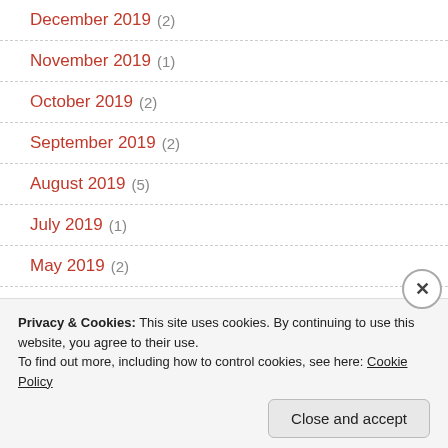December 2019 (2)
November 2019 (1)
October 2019 (2)
September 2019 (2)
August 2019 (5)
July 2019 (1)
May 2019 (2)
April 2019 (2)
Privacy & Cookies: This site uses cookies. By continuing to use this website, you agree to their use.
To find out more, including how to control cookies, see here: Cookie Policy
Close and accept